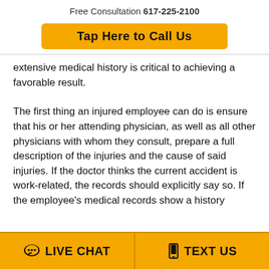Free Consultation 617-225-2100
Tap Here to Call Us
extensive medical history is critical to achieving a favorable result.
The first thing an injured employee can do is ensure that his or her attending physician, as well as all other physicians with whom they consult, prepare a full description of the injuries and the cause of said injuries. If the doctor thinks the current accident is work-related, the records should explicitly say so. If the employee's medical records show a history
LIVE CHAT   TEXT US